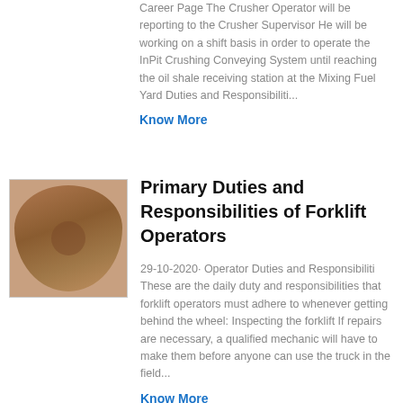Career Page The Crusher Operator will be reporting to the Crusher Supervisor He will be working on a shift basis in order to operate the InPit Crushing Conveying System until reaching the oil shale receiving station at the Mixing Fuel Yard Duties and Responsibiliti...
Know More
[Figure (photo): Thumbnail photo of industrial crusher or circular metal equipment part, brownish tone]
Primary Duties and Responsibilities of Forklift Operators
29-10-2020· Operator Duties and Responsibiliti These are the daily duty and responsibilities that forklift operators must adhere to whenever getting behind the wheel: Inspecting the forklift If repairs are necessary, a qualified mechanic will have to make them before anyone can use the truck in the field...
Know More